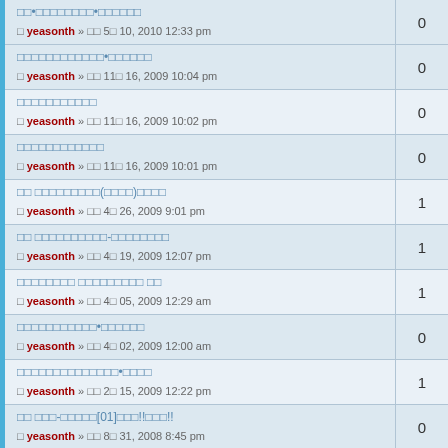□□•□□□□□□□□□•□□□□□□□ | yeasonth » □□ 5□ 10, 2010 12:33 pm | 0
□□□□□□□□□□□□□•□□□□□□□ | yeasonth » □□ 11□ 16, 2009 10:04 pm | 0
□□□□□□□□□□□ | yeasonth » □□ 11□ 16, 2009 10:02 pm | 0
□□□□□□□□□□□□ | yeasonth » □□ 11□ 16, 2009 10:01 pm | 0
□□ □□□□□□□□□(□□□□)□□□□ | yeasonth » □□ 4□ 26, 2009 9:01 pm | 1
□□ □□□□□□□□□□-□□□□□□□□□ | yeasonth » □□ 4□ 19, 2009 12:07 pm | 1
□□□□□□□□ □□□□□□□□□ □□ | yeasonth » □□ 4□ 05, 2009 12:29 am | 1
□□□□□□□□□□□•□□□□□□ | yeasonth » □□ 4□ 02, 2009 12:00 am | 0
□□□□□□□□□□□□□□□•□□□□□ | yeasonth » □□ 2□ 15, 2009 12:22 pm | 1
□□ □□□-□□□□□[01]□□□!!□□□!! | yeasonth » □□ 8□ 31, 2008 8:45 pm | 0
□□□□□ ★□□□□□ ★□□□□-[□] | yeasonth » □□ 8□ 24, 2008 8:22 pm | 1